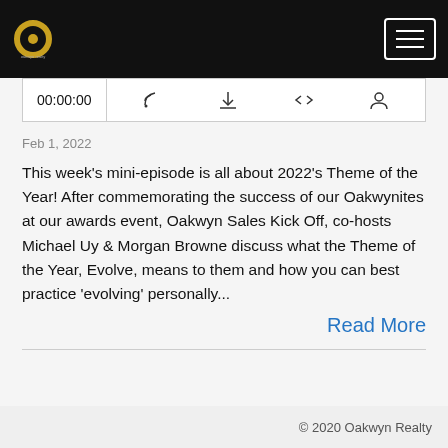Oakwyn Realty podcast site header with logo and hamburger menu
[Figure (screenshot): Podcast player bar showing 00:00:00 timestamp with RSS, download, embed code, and share icons]
Feb 1, 2022
This week's mini-episode is all about 2022's Theme of the Year! After commemorating the success of our Oakwynites at our awards event, Oakwyn Sales Kick Off, co-hosts Michael Uy & Morgan Browne discuss what the Theme of the Year, Evolve, means to them and how you can best practice 'evolving' personally...
Read More
© 2020 Oakwyn Realty